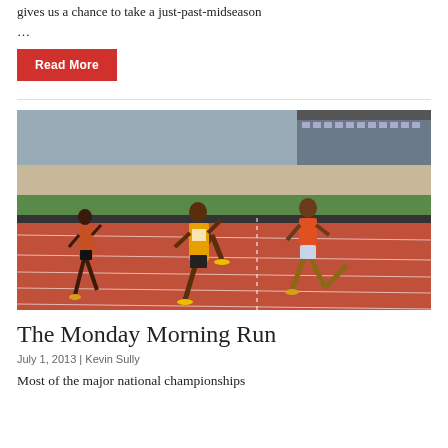gives us a chance to take a just-past-midseason …
Read More
[Figure (photo): Female sprinters racing on a red athletics track at a packed stadium. Three runners are visible, one wearing a yellow and orange kit with 'HARRIERS' on the bib, competing in a sprint event.]
The Monday Morning Run
July 1, 2013 | Kevin Sully
Most of the major national championships